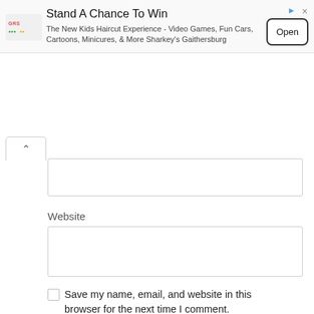[Figure (screenshot): Advertisement banner: Stand A Chance To Win - The New Kids Haircut Experience - Video Games, Fun Cars, Cartoons, Minicures, & More Sharkey's Gaithersburg. With Open button.]
Website
Save my name, email, and website in this browser for the next time I comment.
Post Comment
Search